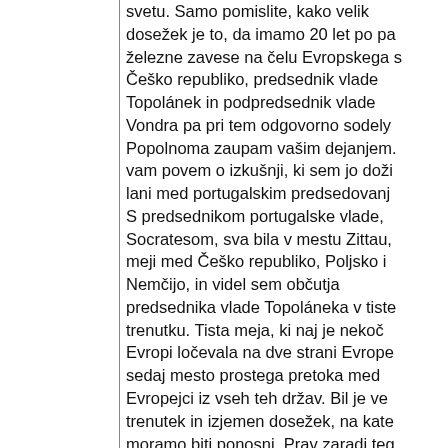svetu. Samo pomislite, kako velik dosežek je to, da imamo 20 let po pa železne zavese na čelu Evropskega s Češko republiko, predsednik vlade Topolánek in podpredsednik vlade Vondra pa pri tem odgovorno sodelу Popolnoma zaupam vašim dejanjem. vam povem o izkušnji, ki sem jo dož lani med portugalskim predsedovanj S predsednikom portugalske vlade, Socratesom, sva bila v mestu Zittau, meji med Češko republiko, Poljsko i Nemčijo, in videl sem občutja predsednika vlade Topoláneka v tiste trenutku. Tista meja, ki naj je nekoč Evropi ločevala na dve strani Evrope sedaj mesto prostega pretoka med Evropejci iz vseh teh držav. Bil je ve trenutek in izjemen dosežek, na kate moramo biti ponosni. Prav zaradi teg resnično verjamem, da moramo bran vrednote in poskrbeti, da bo to predsedovanje uspešno. Nekateri ste dejali, da je uspeh Češke republike pomemben, ker gre za majhno držav